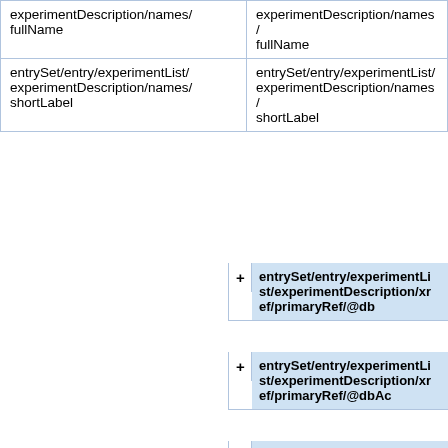| Left column | Right column |
| --- | --- |
| experimentDescription/names/
fullName | experimentDescription/names/
fullName |
| entrySet/entry/experimentList/
experimentDescription/names/
shortLabel | entrySet/entry/experimentList/
experimentDescription/names/
shortLabel |
|  | + entrySet/entry/experimentList/experimentDescription/xref/primaryRef/@db |
|  | + entrySet/entry/experimentList/experimentDescription/xref/primaryRef/@dbAc |
|  | + entrySet/entry/experimentList/experimentDescription/xref/primaryRef/@id |
|  | + entrySet/entry/experimentList/experimentDescription/xref/primaryRef/@refType |
|  | + entrySet/entry/experimentList/experimentDescription/xref/primaryRef/@refTypeAc |